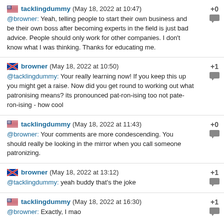tacklingdummy (May 18, 2022 at 10:47) +0
@browner: Yeah, telling people to start their own business and be their own boss after becoming experts in the field is just bad advice. People should only work for other companies. I don't know what I was thinking. Thanks for educating me.
browner (May 18, 2022 at 10:50) +1
@tacklingdummy: Your really learning now! If you keep this up you might get a raise. Now did you get round to working out what patronising means? its pronounced pat-ron-ising too not pate-ron-ising - how cool
tacklingdummy (May 18, 2022 at 11:43) +0
@browner: Your comments are more condescending. You should really be looking in the mirror when you call someone patronizing.
browner (May 18, 2022 at 13:12) +1
@tacklingdummy: yeah buddy that's the joke
tacklingdummy (May 18, 2022 at 16:30) +1
@browner: Exactly, I mao